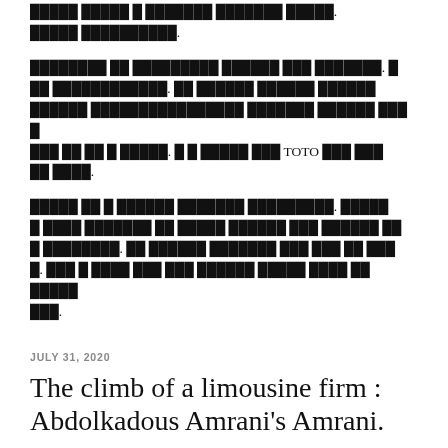[text in non-Latin script, partially visible at top]. [non-Latin script].
[text in non-Latin script]. [text in non-Latin script]. [text in non-Latin script with TOTO]. [non-Latin script with underline].
[text in non-Latin script]. [non-Latin script paragraphs].
JULY 31, 2020
The climb of a limousine firm : Abdolkadous Amrani's Amrani.